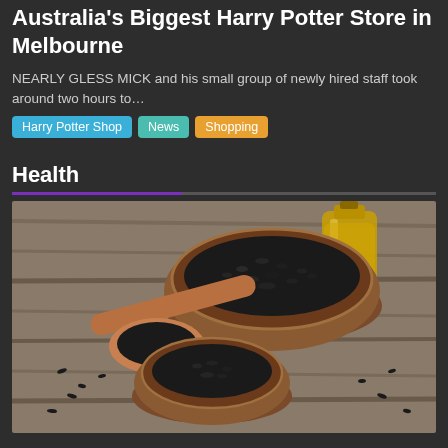Australia's Biggest Harry Potter Store in Melbourne
NEARLY GLESS MICK and his small group of newly hired staff took around two hours to…
Harry Potter Shop
News
Shopping
Health
[Figure (photo): Black seeds in wooden bowls and spoon, with a bottle of golden oil in the background, on a rustic wooden surface.]